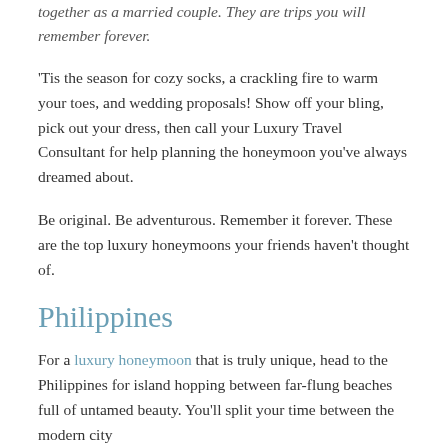together as a married couple. They are trips you will remember forever.
'Tis the season for cozy socks, a crackling fire to warm your toes, and wedding proposals! Show off your bling, pick out your dress, then call your Luxury Travel Consultant for help planning the honeymoon you’ve always dreamed about.
Be original. Be adventurous. Remember it forever. These are the top luxury honeymoons your friends haven’t thought of.
Philippines
For a luxury honeymoon that is truly unique, head to the Philippines for island hopping between far-flung beaches full of untamed beauty. You’ll split your time between the modern city